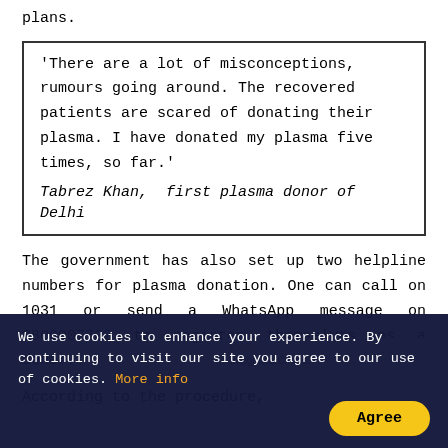plans.
'There are a lot of misconceptions, rumours going around. The recovered patients are scared of donating their plasma. I have donated my plasma five times, so far.' Tabrez Khan,  first plasma donor of Delhi
The government has also set up two helpline numbers for plasma donation. One can call on 1031 or send a WhatsApp message on 8800007722 to register themselves as a donor.
According to the procedure,
We use cookies to enhance your experience. By continuing to visit our site you agree to our use of cookies. More info
Agree